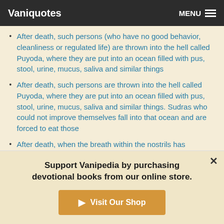Vaniquotes — MENU
After death, such persons (who have no good behavior, cleanliness or regulated life) are thrown into the hell called Puyoda, where they are put into an ocean filled with pus, stool, urine, mucus, saliva and similar things
After death, such persons are thrown into the hell called Puyoda, where they are put into an ocean filled with pus, stool, urine, mucus, saliva and similar things. Sudras who could not improve themselves fall into that ocean and are forced to eat those
After death, when the breath within the nostrils has stopped, one can understand that the person within the body, who
Support Vanipedia by purchasing devotional books from our online store.
▶ Visit Our Shop